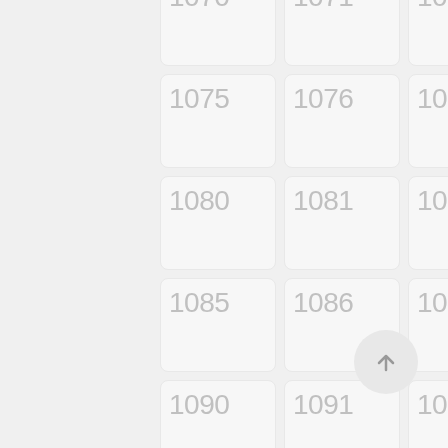[Figure (screenshot): A grid of numbered cells arranged in 5 columns and 11 rows, showing numbers 1070-1124, with a scroll-to-top button in the bottom right corner. Each cell has a light gray rounded rectangle background with a light gray number displayed.]